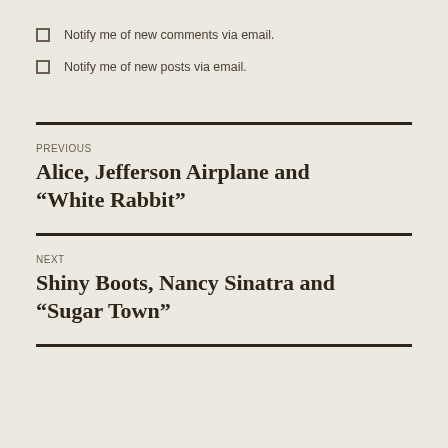Notify me of new comments via email.
Notify me of new posts via email.
PREVIOUS
Alice, Jefferson Airplane and “White Rabbit”
NEXT
Shiny Boots, Nancy Sinatra and “Sugar Town”